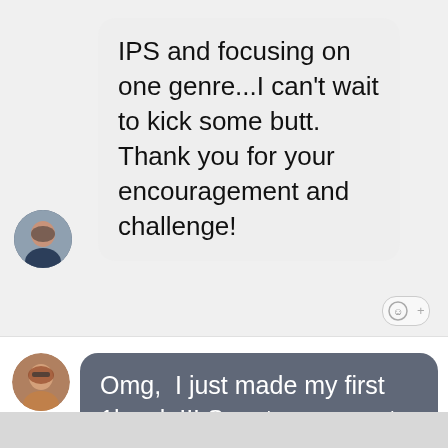IPS and focusing on one genre...I can't wait to kick some butt. Thank you for your encouragement and challenge!
[Figure (photo): Avatar of a woman with dark hair in a circular profile picture]
[Figure (other): Reaction button with smiley face and plus icon]
Omg, I just made my first 1k sale!!! Spontaneous get together with an old high school friend and her kiddos.
[Figure (photo): Avatar of a woman with red hair and glasses in a circular profile picture]